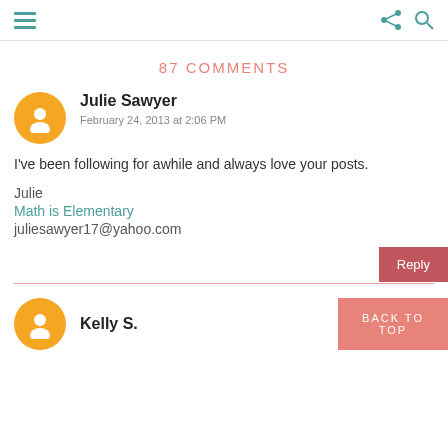Navigation header with hamburger menu, share icon, and search icon
87 COMMENTS
Julie Sawyer
February 24, 2013 at 2:06 PM

I've been following for awhile and always love your posts.

Julie
Math is Elementary
juliesawyer17@yahoo.com
Kelly S.